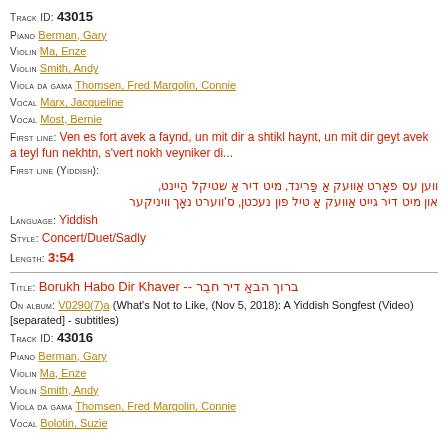Track ID: 43015
Piano Berman, Gary
Violin Ma, Enze
Violin Smith, Andy
Viola da gama Thomsen, Fred Margolin, Connie
Vocal Marx, Jacqueline
Vocal Most, Bernie
First line: Ven es fort avek a faynd, un mit dir a shtikl haynt, un mit dir geyt avek a teyl fun nekhtn, s'vert nokh veyniker di...
First line (Yiddish): ווען עס פאָרט אַוועק אַ פַּרינד, מיט דיר אַ שטיקל הַיינט, און מיט דיר גייט אַוועק אַ טיל פון נעכטן, ס'ווערט נאָך וויניקער
Language: Yiddish
Style: Concert/Duet/Sadly
Length: 3:54
Title: Borukh Habo Dir Khaver -- ברוך הבאַ דיר חבֵר
On album: V0290(7)a (What's Not to Like, (Nov 5, 2018): A Yiddish Songfest (Video) [separated] - subtitles)
Track ID: 43016
Piano Berman, Gary
Violin Ma, Enze
Violin Smith, Andy
Viola da gama Thomsen, Fred Margolin, Connie
Vocal Bolotin, Suzie